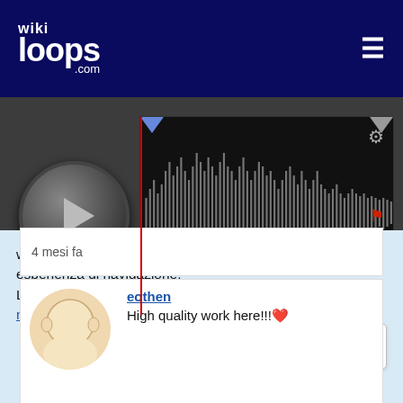[Figure (screenshot): wikiloops.com website header with navy blue background, wiki loops logo on left and hamburger menu on right]
[Figure (screenshot): Audio player with dark background, play button, waveform visualization, time display showing 00:00 and 04:14, 80 BPM key of C, PUB badge]
4 mesi fa
eothen
High quality work here!!!❤️
wikiloops.com usa i Cookies per fornirti la miglior esperienza di navigazione.
Leggi di più nella nostra
nota sulla tutela dei dati personali .
OK, ho capito